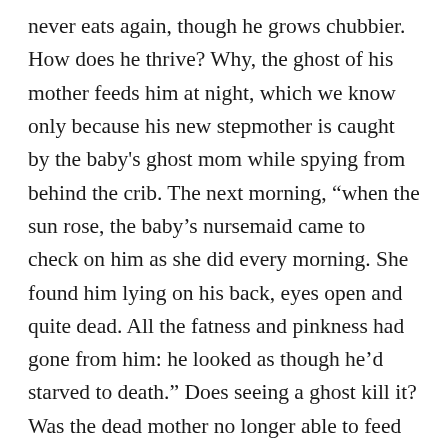never eats again, though he grows chubbier. How does he thrive? Why, the ghost of his mother feeds him at night, which we know only because his new stepmother is caught by the baby's ghost mom while spying from behind the crib. The next morning, “when the sun rose, the baby’s nursemaid came to check on him as she did every morning. She found him lying on his back, eyes open and quite dead. All the fatness and pinkness had gone from him: he looked as though he’d starved to death.” Does seeing a ghost kill it? Was the dead mother no longer able to feed him? Was the jig up!? Sometimes the stories seem shocking for its own sake, and I felt like the writer was